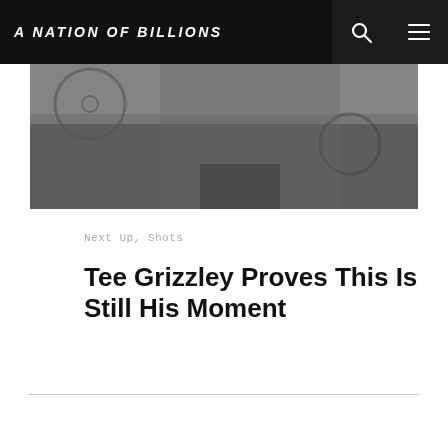A NATION OF BILLIONS
[Figure (photo): Black and white photo of a person, partially visible, in a room with bicycle wheels visible in the background]
Next Up, Shots
Tee Grizzley Proves This Is Still His Moment